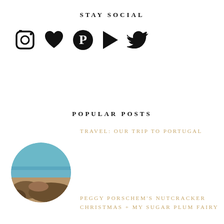STAY SOCIAL
[Figure (illustration): Row of social media icons: Instagram camera, heart/like, Pinterest, play button, Twitter bird — all in black silhouette style]
POPULAR POSTS
TRAVEL: OUR TRIP TO PORTUGAL
[Figure (photo): Circular thumbnail photo of a rocky coastline with blue sky and sea, warm vintage tones]
PEGGY PORSCHEM'S NUTCRACKER CHRISTMAS + MY SUGAR PLUM FAIRY
[Figure (photo): Circular thumbnail photo, partially visible at bottom — appears to show decorative or floral subject with warm tones]